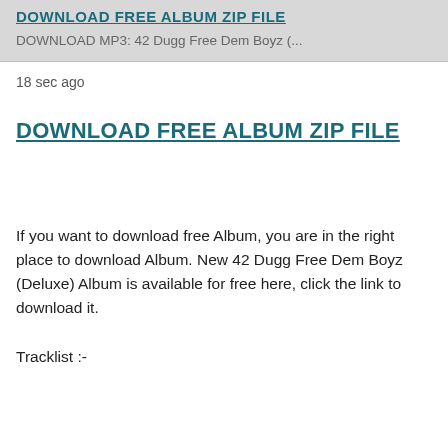DOWNLOAD FREE ALBUM ZIP FILE
DOWNLOAD MP3: 42 Dugg Free Dem Boyz (...
18 sec ago
DOWNLOAD FREE ALBUM ZIP FILE
If you want to download free Album, you are in the right place to download Album. New 42 Dugg Free Dem Boyz (Deluxe) Album is available for free here, click the link to download it.
Tracklist :-